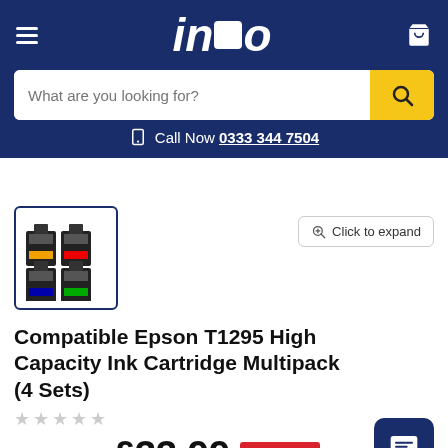inko — Call Now 0333 344 7504
[Figure (screenshot): Thumbnail of ink cartridge multipack product image — 4 sets of Epson T1295 compatible cartridges]
Compatible Epson T1295 High Capacity Ink Cartridge Multipack (4 Sets)
RRP £111.96  £33.99  Save 70%